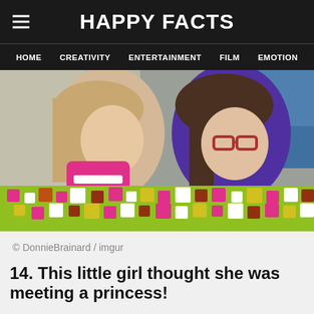HAPPY FACTS
HOME  CREATIVITY  ENTERTAINMENT  FILM  EMOTION
[Figure (photo): Two young girls leaning over a colorful patterned blanket/gift wrap. The girl on the left wears a pink brace/vest and is smiling. The girl on the right wears glasses and a purple outfit.]
© DonnieBrainard / imgur
14. This little girl thought she was meeting a princess!